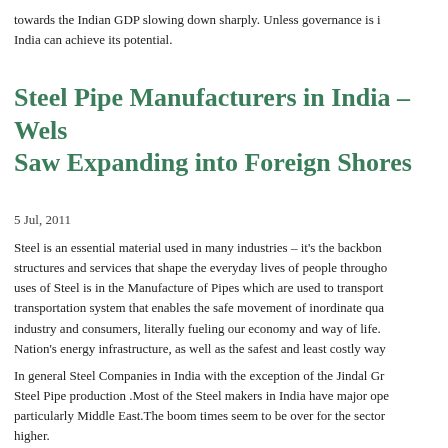towards the Indian GDP slowing down sharply. Unless governance is i… India can achieve its potential.
Steel Pipe Manufacturers in India – Wels… Saw Expanding into Foreign Shores
5 Jul, 2011
Steel is an essential material used in many industries – it's the backbon… structures and services that shape the everyday lives of people througho… uses of Steel is in the Manufacture of Pipes which are used to transport transportation system that enables the safe movement of inordinate qua… industry and consumers, literally fueling our economy and way of life. Nation's energy infrastructure, as well as the safest and least costly way
In general Steel Companies in India with the exception of the Jindal Gr… Steel Pipe production .Most of the Steel makers in India have major ope… particularly Middle East.The boom times seem to be over for the sector… higher.